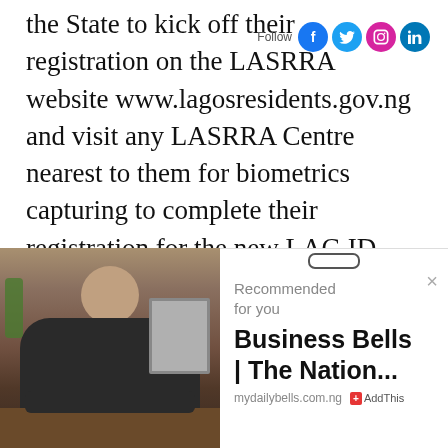the State to kick off their registration on the LASRRA website www.lagosresidents.gov.ng and visit any LASRRA Centre nearest to them for biometrics capturing to complete their registration for the new LAG ID Card, as she stressed that the registration is absolutely free.
[Figure (photo): A man in dark clothing seated at a desk in an office setting]
Recommended for you
Business Bells | The Nation...
mydailybells.com.ng